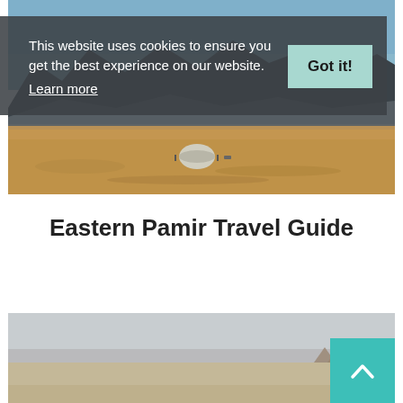[Figure (photo): Panoramic photo of Eastern Pamir landscape with arid desert plain, a white yurt/dome structure in the middle distance, and dark mountain ridges under a blue sky]
This website uses cookies to ensure you get the best experience on our website. Learn more
Eastern Pamir Travel Guide
[Figure (photo): Landscape photo showing a misty or hazy desert/steppe scene with small rock or stone formations in the foreground and flat terrain stretching to the horizon]